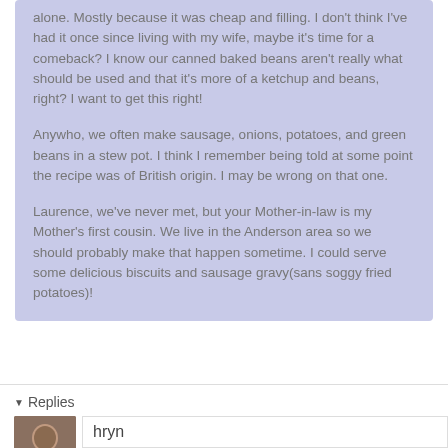alone. Mostly because it was cheap and filling. I don't think I've had it once since living with my wife, maybe it's time for a comeback? I know our canned baked beans aren't really what should be used and that it's more of a ketchup and beans, right? I want to get this right!

Anywho, we often make sausage, onions, potatoes, and green beans in a stew pot. I think I remember being told at some point the recipe was of British origin. I may be wrong on that one.

Laurence, we've never met, but your Mother-in-law is my Mother's first cousin. We live in the Anderson area so we should probably make that happen sometime. I could serve some delicious biscuits and sausage gravy(sans soggy fried potatoes)!
Replies
hryn